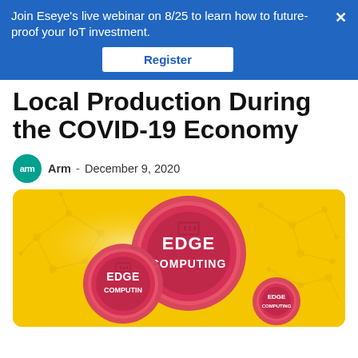Join Eseye's live webinar on 8/25 to learn how to future-proof your IoT investment. Register
Local Production During the COVID-19 Economy
Arm  -  December 9, 2020
[Figure (illustration): Yellow background with molecular/network pattern and three red coin-like circular badges labeled 'EDGE COMPUTING' in different sizes.]